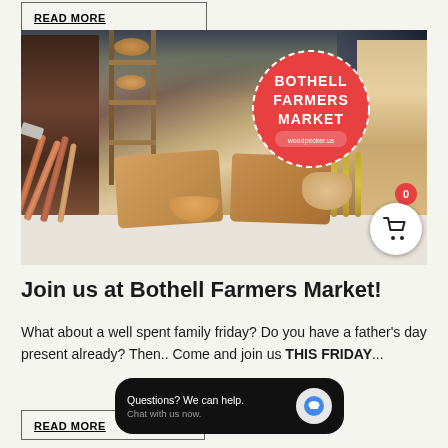READ MORE
[Figure (photo): Photo of a farmers market booth with wooden handcrafted items including cutting boards, bowls, tools, and stools on a white tablecloth. A red circular Bothell Farmers Market badge is overlaid on the image.]
Join us at Bothell Farmers Market!
What about a well spent family friday? Do you have a father's day present already? Then..  Come and join us THIS FRIDAY...
READ MORE